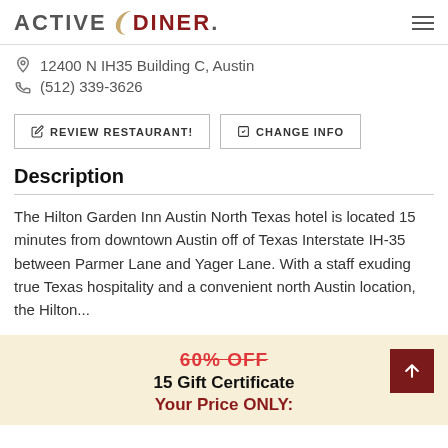ACTIVE DINER
12400 N IH35 Building C, Austin
(512) 339-3626
REVIEW RESTAURANT!
CHANGE INFO
Description
The Hilton Garden Inn Austin North Texas hotel is located 15 minutes from downtown Austin off of Texas Interstate IH-35 between Parmer Lane and Yager Lane. With a staff exuding true Texas hospitality and a convenient north Austin location, the Hilton...
60% OFF
15 Gift Certificate
Your Price ONLY: